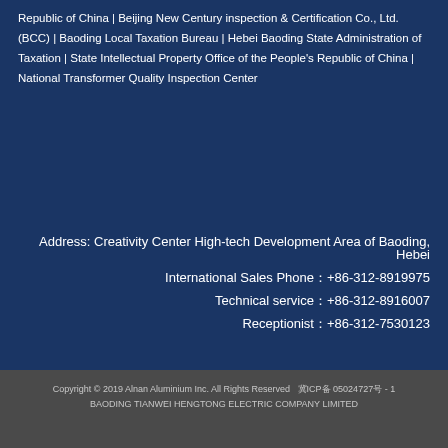Republic of China | Beijing New Century inspection & Certification Co., Ltd. (BCC) | Baoding Local Taxation Bureau | Hebei Baoding State Administration of Taxation | State Intellectual Property Office of the People's Republic of China | National Transformer Quality Inspection Center
Address: Creativity Center High-tech Development Area of Baoding, Hebei
International Sales Phone：+86-312-8919975
Technical service：+86-312-8916007
Receptionist：+86-312-7530123
Copyright © 2019 Alnan Aluminium Inc. All Rights Reserved  冀ICP备 05024727号 - 1
BAODING TIANWEI HENGTONG ELECTRIC COMPANY LIMITED